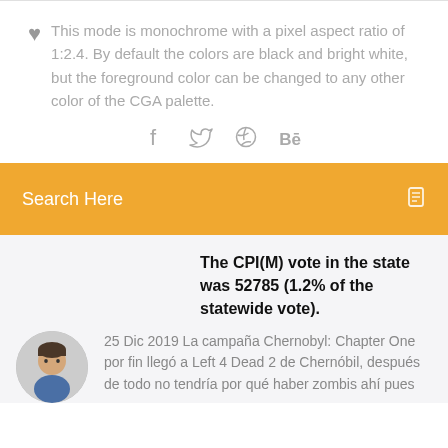This mode is monochrome with a pixel aspect ratio of 1:2.4. By default the colors are black and bright white, but the foreground color can be changed to any other color of the CGA palette.
[Figure (infographic): Social media icons: Facebook, Twitter, Dribbble, Behance]
Search Here
The CPI(M) vote in the state was 52785 (1.2% of the statewide vote).
[Figure (photo): Circular avatar photo of a man]
25 Dic 2019 La campaña Chernobyl: Chapter One por fin llegó a Left 4 Dead 2 de Chernóbil, después de todo no tendría por qué haber zombis ahí pues